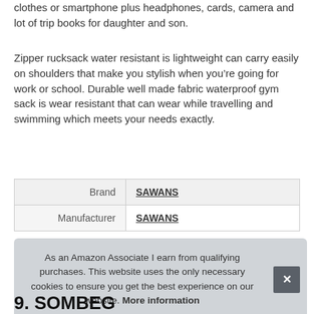clothes or smartphone plus headphones, cards, camera and lot of trip books for daughter and son.
Zipper rucksack water resistant is lightweight can carry easily on shoulders that make you stylish when you're going for work or school. Durable well made fabric waterproof gym sack is wear resistant that can wear while travelling and swimming which meets your needs exactly.
| Brand | SAWANS |
| Manufacturer | SAWANS |
As an Amazon Associate I earn from qualifying purchases. This website uses the only necessary cookies to ensure you get the best experience on our website. More information
9. SOMBEG